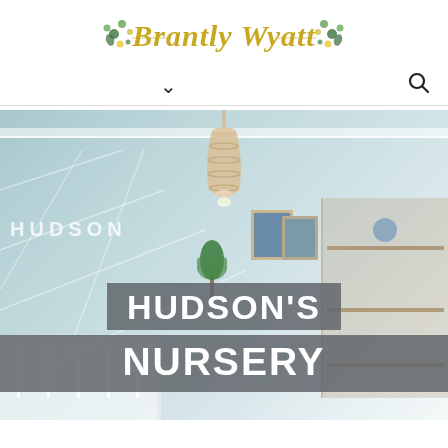[Figure (logo): Brantley Wyatt script logo in gold with green floral decorations on either side]
[Figure (other): Navigation bar with a downward chevron (dropdown indicator) on the left and a search magnifying glass icon on the right]
[Figure (photo): Baby nursery room photo showing a light blue geometric accent wall with 'HUDSON' letters, a beaded chandelier hanging from the ceiling, a white crib in the lower left, a green plant, framed photos, wooden shelves, and a globe. Overlaid text reads 'HUDSON'S NURSERY' in white bold text on a dark gray semi-transparent background.]